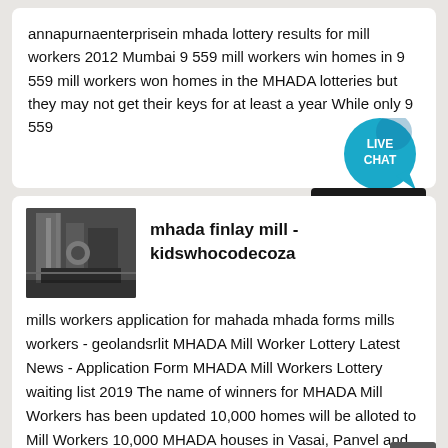annapurnaenterprisein mhada lottery results for mill workers 2012 Mumbai 9 559 mill workers win homes in 9 559 mill workers won homes in the MHADA lotteries but they may not get their keys for at least a year While only 9 559
[Figure (screenshot): Live Chat bubble icon in teal/cyan color with chat tail, and a Get Price button in black]
[Figure (photo): Industrial machinery/mill equipment photo showing pipes and machinery in dark tones]
mhada finlay mill - kidswhocodecoza
mills workers application for mahada mhada forms mills workers - geolandsrlit MHADA Mill Worker Lottery Latest News - Application Form MHADA Mill Workers Lottery waiting list 2019 The name of winners for MHADA Mill Workers has been updated 10,000 homes will be alloted to Mill Workers 10,000 MHADA houses in Vasai, Panvel and Kalyan will be be approved for all the MHADA Mill ,